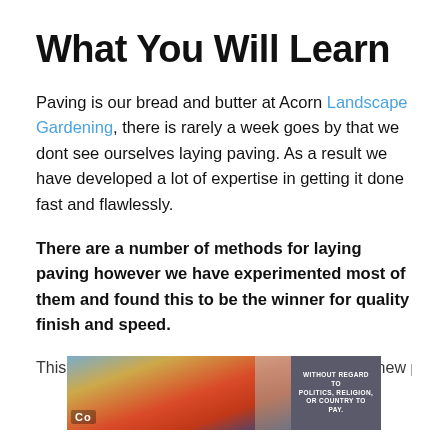What You Will Learn
Paving is our bread and butter at Acorn Landscape Gardening, there is rarely a week goes by that we dont see ourselves laying paving. As a result we have developed a lot of expertise in getting it done fast and flawlessly.
There are a number of methods for laying paving however we have experimented most of them and found this to be the winner for quality finish and speed.
This how to guide will show you how to lay your new paved
[Figure (photo): Advertisement banner showing an airplane being loaded with cargo, with text overlay reading WITHOUT REGARD TO POLITICS, RELIGION, OR COUNTRY OF PAY.]